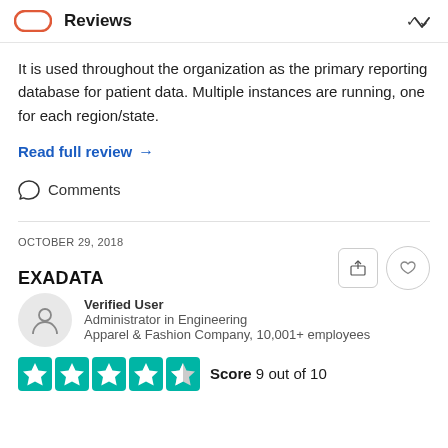Reviews
It is used throughout the organization as the primary reporting database for patient data. Multiple instances are running, one for each region/state.
Read full review →
Comments
OCTOBER 29, 2018
EXADATA
Verified User
Administrator in Engineering
Apparel & Fashion Company, 10,001+ employees
Score 9 out of 10